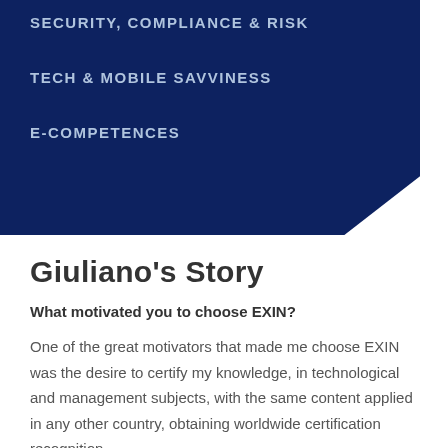SECURITY, COMPLIANCE & RISK
TECH & MOBILE SAVVINESS
E-COMPETENCES
Giuliano's Story
What motivated you to choose EXIN?
One of the great motivators that made me choose EXIN was the desire to certify my knowledge, in technological and management subjects, with the same content applied in any other country, obtaining worldwide certification recognition.